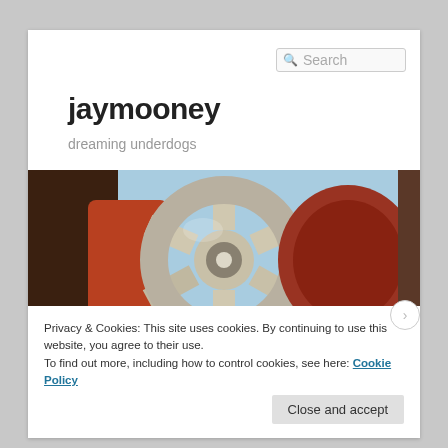Search
jaymooney
dreaming underdogs
[Figure (photo): Close-up photo of a chrome alloy wheel or steering wheel mechanism with red drum brake components visible in the background, blue sky reflected in the chrome.]
Privacy & Cookies: This site uses cookies. By continuing to use this website, you agree to their use.
To find out more, including how to control cookies, see here: Cookie Policy
Close and accept